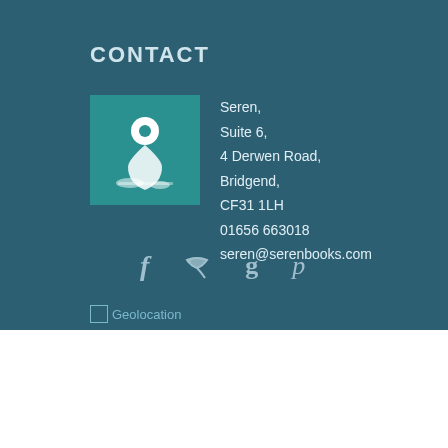CONTACT
[Figure (illustration): Teal square icon box with white location/map pin icon]
Seren,
Suite 6,
4 Derwen Road,
Bridgend,
CF31 1LH
01656 663018
seren@serenbooks.com
[Figure (illustration): Social media icons: Facebook (f), Twitter (bird), Google+ (g), Pinterest (p)]
Geolocation
[Figure (logo): SEREN logo in bold serif font with decorative elements]
back to top